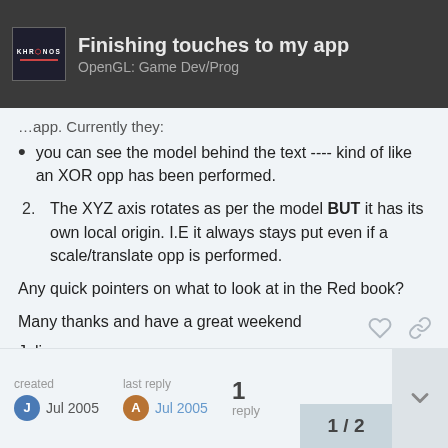Finishing touches to my app | OpenGL: Game Dev/Prog
you can see the model behind the text ---- kind of like an XOR opp has been performed.
The XYZ axis rotates as per the model BUT it has its own local origin. I.E it always stays put even if a scale/translate opp is performed.
Any quick pointers on what to look at in the Red book?
Many thanks and have a great weekend
Julian
created Jul 2005 | last reply Jul 2005 | 1 reply | 1 / 2